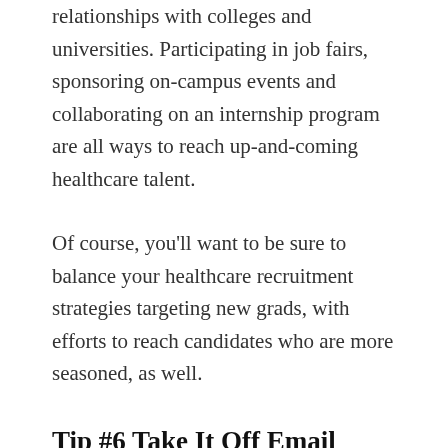relationships with colleges and universities. Participating in job fairs, sponsoring on-campus events and collaborating on an internship program are all ways to reach up-and-coming healthcare talent.
Of course, you'll want to be sure to balance your healthcare recruitment strategies targeting new grads, with efforts to reach candidates who are more seasoned, as well.
Tip #6 Take It Off Email
Email may be the communication platform where we spend the most time (the average